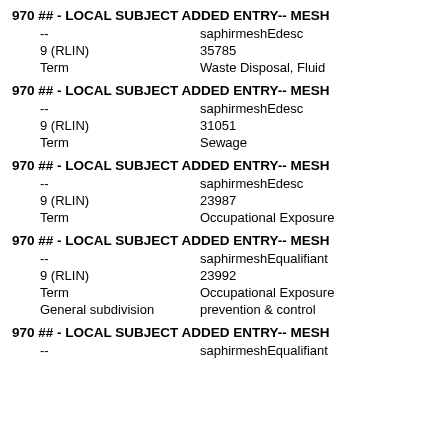970 ## - LOCAL SUBJECT ADDED ENTRY-- MESH
-- saphirmeshEdesc
9 (RLIN) 35785
Term Waste Disposal, Fluid
970 ## - LOCAL SUBJECT ADDED ENTRY-- MESH
-- saphirmeshEdesc
9 (RLIN) 31051
Term Sewage
970 ## - LOCAL SUBJECT ADDED ENTRY-- MESH
-- saphirmeshEdesc
9 (RLIN) 23987
Term Occupational Exposure
970 ## - LOCAL SUBJECT ADDED ENTRY-- MESH
-- saphirmeshEqualifiant
9 (RLIN) 23992
Term Occupational Exposure
General subdivision prevention & control
970 ## - LOCAL SUBJECT ADDED ENTRY-- MESH
-- saphirmeshEqualifiant